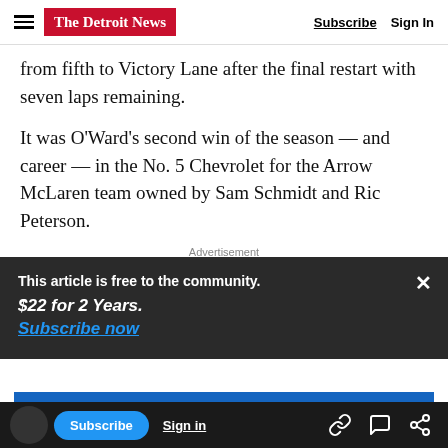The Detroit News | Subscribe | Sign In
from fifth to Victory Lane after the final restart with seven laps remaining.
It was O’Ward’s second win of the season — and career — in the No. 5 Chevrolet for the Arrow McLaren team owned by Sam Schmidt and Ric Peterson.
Advertisement
This article is free to the community.
$22 for 2 Years.
Subscribe now